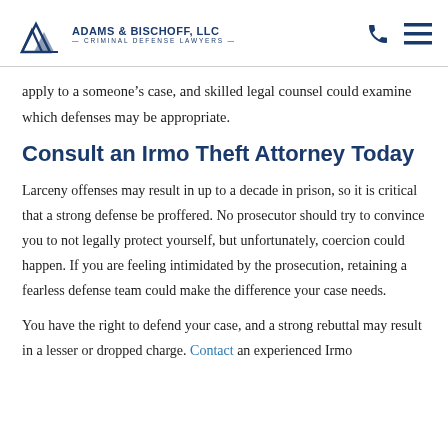ADAMS & BISCHOFF, LLC — CRIMINAL DEFENSE LAWYERS
apply to a someone's case, and skilled legal counsel could examine which defenses may be appropriate.
Consult an Irmo Theft Attorney Today
Larceny offenses may result in up to a decade in prison, so it is critical that a strong defense be proffered. No prosecutor should try to convince you to not legally protect yourself, but unfortunately, coercion could happen. If you are feeling intimidated by the prosecution, retaining a fearless defense team could make the difference your case needs.
You have the right to defend your case, and a strong rebuttal may result in a lesser or dropped charge. Contact an experienced Irmo